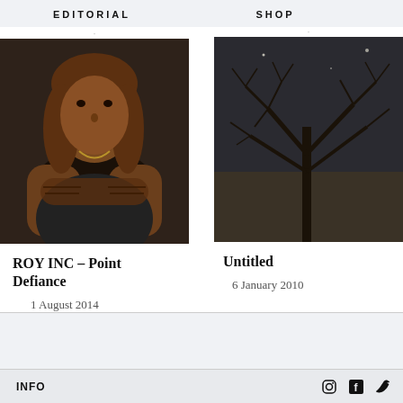EDITORIAL   SHOP
[Figure (photo): Portrait of a muscular man with long brown hair, arms crossed, wearing a dark patterned short-sleeve shirt, with visible tattoos on his arms]
ROY INC – Point Defiance
1 August 2014
[Figure (photo): Dark night sky with bare tree branches silhouetted against dark background with faint light spots]
Untitled
6 January 2010
INFO